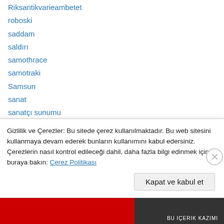Riksantikvarieambetet
roboski
saddam
saldırı
samothrace
samotraki
Samsun
sanat
sanatçı sunumu
sansür
savaş
sazak
sazak'ın dikenleri
Gizlilik ve Çerezler: Bu sitede çerez kullanılmaktadır. Bu web sitesini kullanmaya devam ederek bunların kullanımını kabul edersiniz. Çerezlerin nasıl kontrol edileceği dahil, daha fazla bilgi edinmek için buraya bakın: Çerez Politikası
Kapat ve kabul et